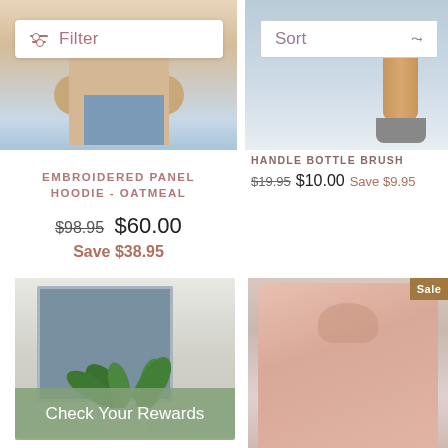[Figure (photo): Person wearing a beige hoodie and jeans, cropped at torso level]
[Figure (photo): Handle bottle brush product on light blue background]
Filter
Sort
HANDLE BOTTLE BRUSH
$19.95  $10.00  Save $9.95
EMBROIDERED PANEL HOODIE - OATMEAL
$98.95  $60.00  Save $38.95
[Figure (photo): Fern plant in white pot against a blue-grey framed background]
Check Your Rewards
[Figure (photo): Woman wearing pink quarter-zip hoodie, looking down]